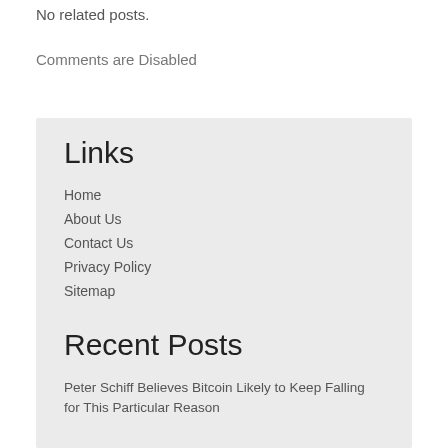No related posts.
Comments are Disabled
Links
Home
About Us
Contact Us
Privacy Policy
Sitemap
Recent Posts
Peter Schiff Believes Bitcoin Likely to Keep Falling for This Particular Reason